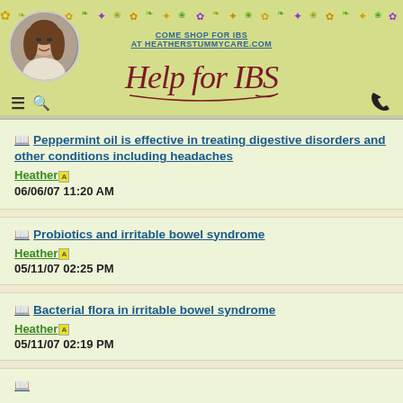COME SHOP FOR IBS AT HEATHERSTUMMYCARE.COM
Help for IBS
Peppermint oil is effective in treating digestive disorders and other conditions including headaches — Heather — 06/06/07 11:20 AM
Probiotics and irritable bowel syndrome — Heather — 05/11/07 02:25 PM
Bacterial flora in irritable bowel syndrome — Heather — 05/11/07 02:19 PM